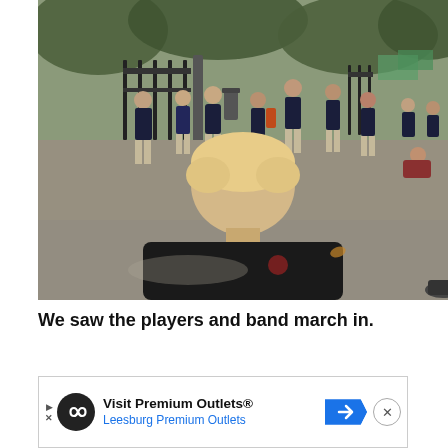[Figure (photo): A young boy with blonde hair, seen from behind wearing a black shirt, watches a group of people in dark blazers and khaki pants marching down a street past iron gates, with trees in the background. Appears to be a college football team and band walk.]
We saw the players and band march in.
[Figure (infographic): Advertisement banner: Visit Premium Outlets® — Leesburg Premium Outlets, with infinity logo on black circle, blue directional road sign arrow, and close button.]